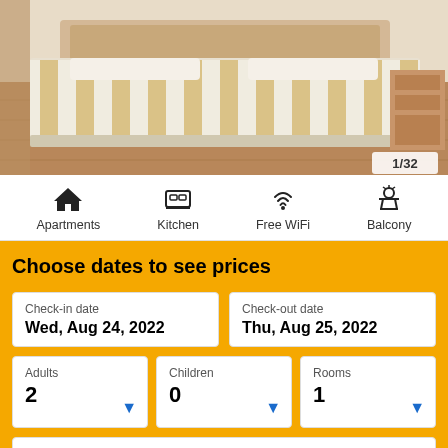[Figure (photo): Hotel room with striped beige and white bedding on a double bed, wooden floor, wooden nightstand. Counter badge shows 1/32.]
Apartments
Kitchen
Free WiFi
Balcony
Choose dates to see prices
Check-in date
Wed, Aug 24, 2022
Check-out date
Thu, Aug 25, 2022
Adults
2
Children
0
Rooms
1
Are you traveling for work?